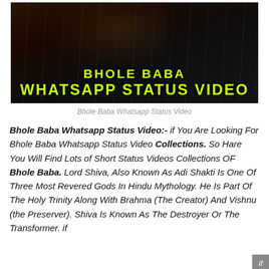[Figure (photo): Dark background thumbnail image showing Bhole Baba Whatsapp Status Video with yellow bold text overlay on a dark atmospheric background with rain effect]
Bhole Baba Whatsapp Status Video
Bhole Baba Whatsapp Status Video:- if You Are Looking For Bhole Baba Whatsapp Status Video Collections. So Hare You Will Find Lots of Short Status Videos Collections OF Bhole Baba. Lord Shiva, Also Known As Adi Shakti Is One Of Three Most Revered Gods In Hindu Mythology. He Is Part Of The Holy Trinity Along With Brahma (The Creator) And Vishnu (the Preserver). Shiva Is Known As The Destroyer Or The Transformer. if